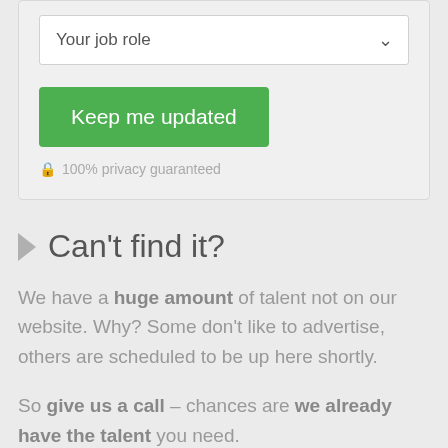[Figure (screenshot): A form card with a dropdown selector labeled 'Your job role', a green button labeled 'Keep me updated', and a '100% privacy guaranteed' note with a lock icon.]
Can't find it?
We have a huge amount of talent not on our website. Why? Some don't like to advertise, others are scheduled to be up here shortly.
So give us a call – chances are we already have the talent you need.